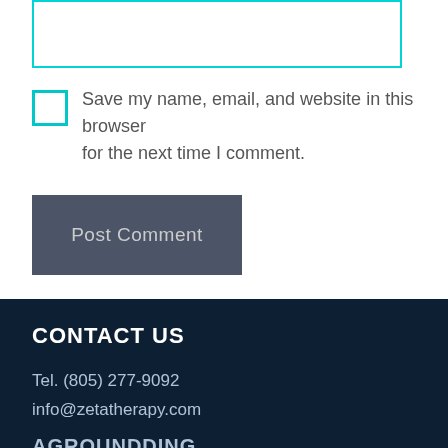[Figure (other): Cyan-bordered input text box (comment field)]
Save my name, email, and website in this browser for the next time I comment.
[Figure (other): Post Comment button (dark grey background)]
CONTACT US
Tel. (805) 277-9092
info@zetatherapy.com
AGROUNDDING